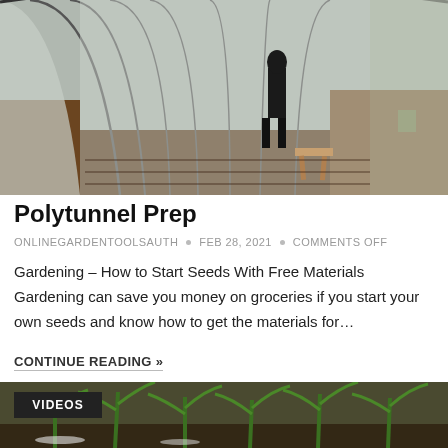[Figure (photo): Interior of a polytunnel greenhouse with a person standing inside, plastic sheeting walls, soil beds, and wooden step stool visible]
Polytunnel Prep
ONLINEGARDENTOOLSAUTH • FEB 28, 2021 • COMMENTS OFF
Gardening – How to Start Seeds With Free Materials Gardening can save you money on groceries if you start your own seeds and know how to get the materials for…
CONTINUE READING »
[Figure (photo): Young corn or vegetable seedlings growing in dark soil, multiple green shoots, with VIDEOS badge overlay]